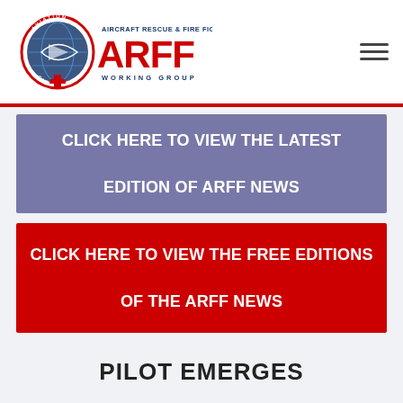[Figure (logo): ARFF Working Group logo with circular aviation emblem and text 'AIRCRAFT RESCUE & FIRE FIGHTING ARFF WORKING GROUP']
CLICK HERE TO VIEW THE LATEST EDITION OF ARFF NEWS
CLICK HERE TO VIEW THE FREE EDITIONS OF THE ARFF NEWS
PILOT EMERGES